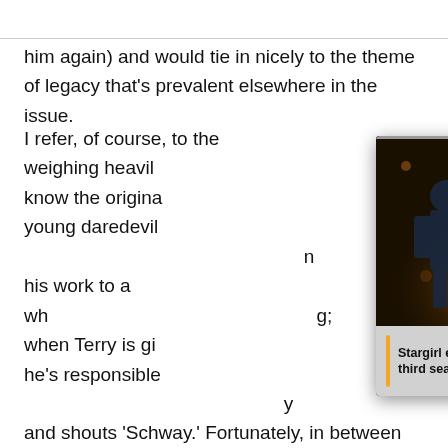him again) and would tie in nicely to the theme of legacy that's prevalent elsewhere in the issue.
[Figure (screenshot): A video card overlay showing a promotional photo for 'Stargirl' with a character in a star-spangled superhero costume, with a progress bar at top, three-dot menu, close (X) button, and a yellow circular arrow button. Caption reads: 'Stargirl episode photos show off the third season premiere']
I refer, of course, to the weighing heavily on know the original young daredevil his work to a wh; when Terry is gi he's responsible and shouts 'Schway.' Fortunately, in between visits to the immature vigilante, Jurgens shows us Bruce dwelling on bringing another innocent in on his obsession, which adds a much-needed depth to the story. I don't usually